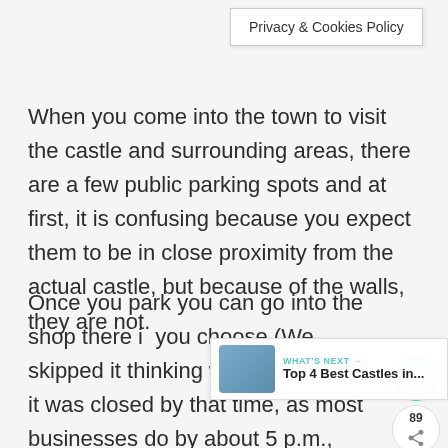Privacy & Cookies Policy
When you come into the town to visit the castle and surrounding areas, there are a few public parking spots and at first, it is confusing because you expect them to be in close proximity from the actual castle, but because of the walls, they are not.
Once you park you can go into the shop there if you choose (We skipped it thinking we'd go late and it was closed by that time, as most businesses do by about 5 p.m., other th to eat or drink, so keep this in mind as you plan.)